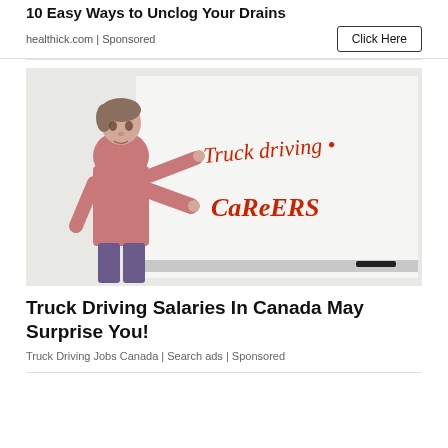10 Easy Ways to Unclog Your Drains
healthick.com | Sponsored
Click Here
[Figure (photo): Woman in pink top pointing at a whiteboard that reads 'Truck driving • Careers' in red handwritten text]
Truck Driving Salaries In Canada May Surprise You!
Truck Driving Jobs Canada | Search ads | Sponsored